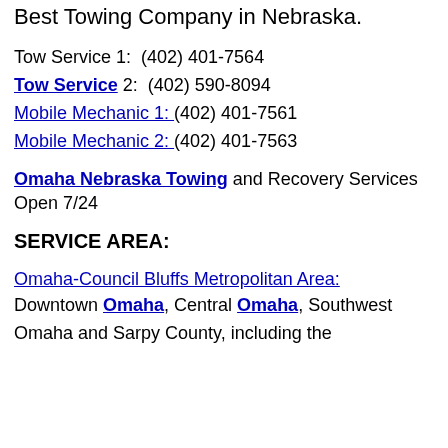Best Towing Company in Nebraska.
Tow Service 1:  (402) 401-7564
Tow Service 2:  (402) 590-8094
Mobile Mechanic 1:  (402) 401-7561
Mobile Mechanic 2:  (402) 401-7563
Omaha Nebraska Towing and Recovery Services Open 7/24
SERVICE AREA:
Omaha-Council Bluffs Metropolitan Area:
Downtown Omaha, Central Omaha, Southwest Omaha and Sarpy County, including the